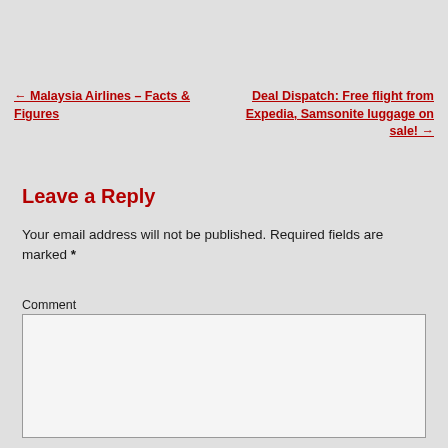← Malaysia Airlines – Facts & Figures
Deal Dispatch: Free flight from Expedia, Samsonite luggage on sale! →
Leave a Reply
Your email address will not be published. Required fields are marked *
Comment